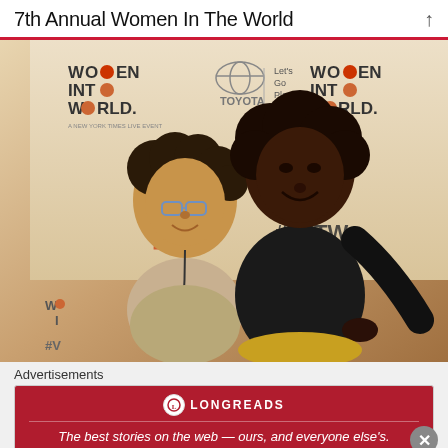7th Annual Women In The World
[Figure (photo): Two women posing together in front of a 'Women In The World' step-and-repeat banner with Toyota and WITW branding. One woman has curly hair and glasses wearing a sparkly top, the other is taller wearing a black outfit.]
Advertisements
[Figure (logo): Longreads advertisement banner: red background with Longreads logo and text 'The best stories on the web — ours, and everyone else's.']